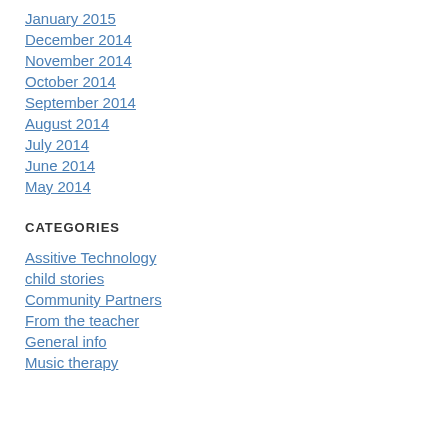January 2015
December 2014
November 2014
October 2014
September 2014
August 2014
July 2014
June 2014
May 2014
CATEGORIES
Assitive Technology
child stories
Community Partners
From the teacher
General info
Music therapy